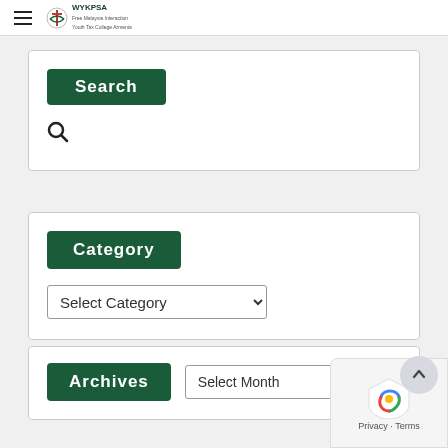WYKPSA logo and hamburger menu
Search
[Figure (other): Search icon (magnifying glass)]
Category
Select Category
Archives
Select Month
Privacy · Terms